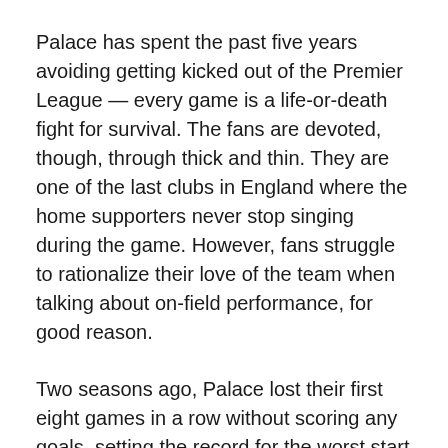Palace has spent the past five years avoiding getting kicked out of the Premier League — every game is a life-or-death fight for survival. The fans are devoted, though, through thick and thin. They are one of the last clubs in England where the home supporters never stop singing during the game. However, fans struggle to rationalize their love of the team when talking about on-field performance, for good reason.
Two seasons ago, Palace lost their first eight games in a row without scoring any goals, setting the record for the worst start to a season, ever. Somehow, the side narrowly avoided being kicked out of the league for being so bad, and two years later, the offensive issues remain.